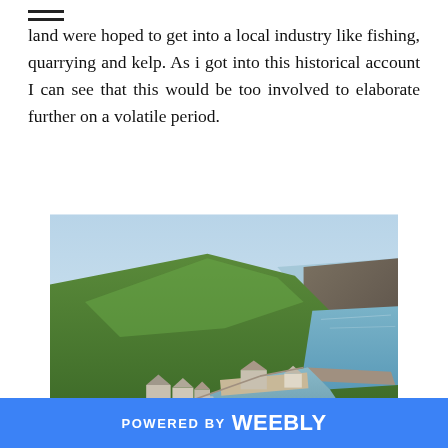≡
land were hoped to get into a local industry like fishing, quarrying and kelp. As i got into this historical account I can see that this would be too involved to elaborate further on a volatile period.
[Figure (photo): Aerial view of a small coastal Scottish harbour village with stone buildings, a sheltered harbour inlet, green hillsides, and sea cliffs in the background under a pale blue sky.]
POWERED BY weebly